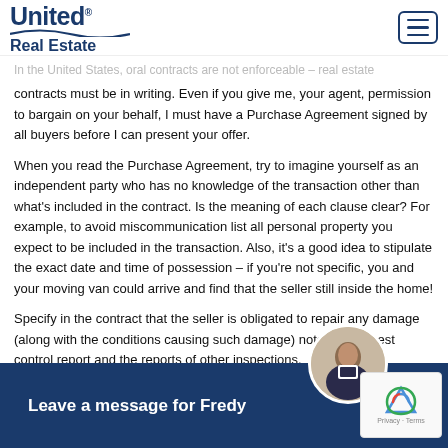[Figure (logo): United Real Estate logo with wave graphic]
contracts must be in writing. Even if you give me, your agent, permission to bargain on your behalf, I must have a Purchase Agreement signed by all buyers before I can present your offer.
When you read the Purchase Agreement, try to imagine yourself as an independent party who has no knowledge of the transaction other than what's included in the contract. Is the meaning of each clause clear? For example, to avoid miscommunication list all personal property you expect to be included in the transaction. Also, it's a good idea to stipulate the exact date and time of possession – if you're not specific, you and your moving van could arrive and find that the seller still inside the home!
Specify in the contract that the seller is obligated to repair any damage (along with the conditions causing such damage) noted in the pest control report and the reports of other inspections.
Elemen
[Figure (other): Leave a message for Fredy chat widget with avatar photo of agent in suit]